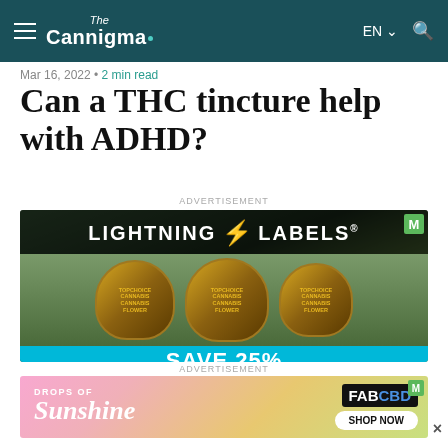The Cannigma
Mar 16, 2022 • 2 min read
Can a THC tincture help with ADHD?
ADVERTISEMENT
[Figure (photo): Lightning Labels advertisement showing three TopChoice Cannabis Flower jars with a 'SAVE 25% ON YOUR FIRST ORDER!' banner in cyan]
ADVERTISEMENT
[Figure (photo): FAB CBD 'Drops of Sunshine' advertisement with pink/tropical background and Shop Now button]